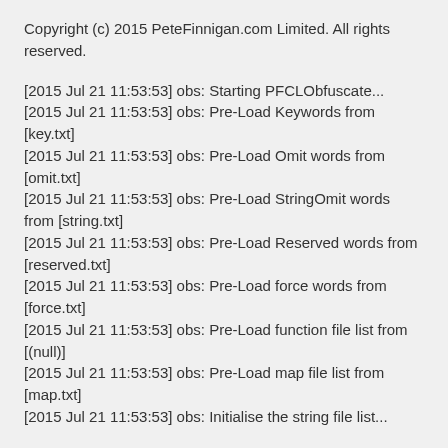Copyright (c) 2015 PeteFinnigan.com Limited. All rights reserved.
[2015 Jul 21 11:53:53] obs: Starting PFCLObfuscate...
[2015 Jul 21 11:53:53] obs: Pre-Load Keywords from [key.txt]
[2015 Jul 21 11:53:53] obs: Pre-Load Omit words from [omit.txt]
[2015 Jul 21 11:53:53] obs: Pre-Load StringOmit words from [string.txt]
[2015 Jul 21 11:53:53] obs: Pre-Load Reserved words from [reserved.txt]
[2015 Jul 21 11:53:53] obs: Pre-Load force words from [force.txt]
[2015 Jul 21 11:53:53] obs: Pre-Load function file list from [(null)]
[2015 Jul 21 11:53:53] obs: Pre-Load map file list from [map.txt]
[2015 Jul 21 11:53:53] obs: Initialise the string file list...